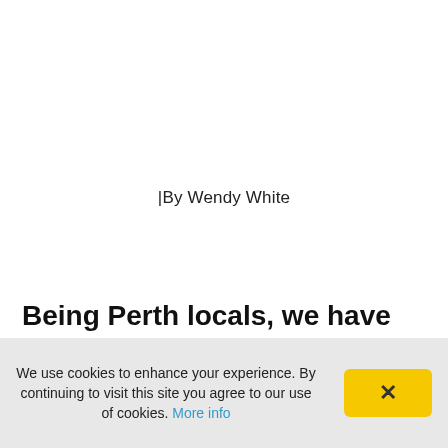|By Wendy White
Being Perth locals, we have visited Denmark WA numerous times. This is our guide to the
We use cookies to enhance your experience. By continuing to visit this site you agree to our use of cookies. More info